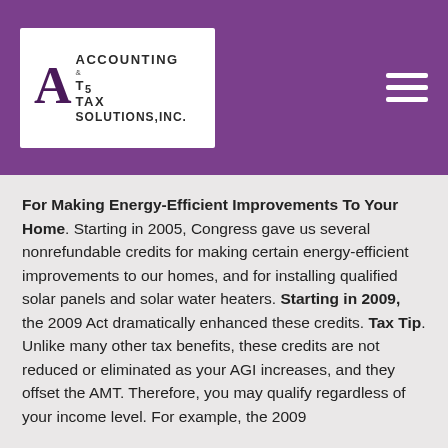[Figure (logo): Accounting & Tax Solutions, Inc. logo with stylized A and T5 lettermark on white background, set within a purple header bar with hamburger menu icon]
For Making Energy-Efficient Improvements To Your Home. Starting in 2005, Congress gave us several nonrefundable credits for making certain energy-efficient improvements to our homes, and for installing qualified solar panels and solar water heaters. Starting in 2009, the 2009 Act dramatically enhanced these credits. Tax Tip. Unlike many other tax benefits, these credits are not reduced or eliminated as your AGI increases, and they offset the AMT. Therefore, you may qualify regardless of your income level. For example, the 2009